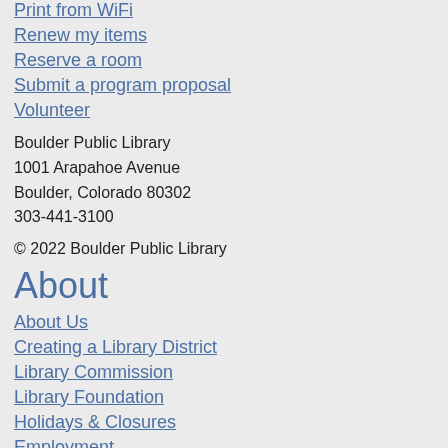Print from WiFi
Renew my items
Reserve a room
Submit a program proposal
Volunteer
Boulder Public Library
1001 Arapahoe Avenue
Boulder, Colorado 80302
303-441-3100
© 2022 Boulder Public Library
About
About Us
Creating a Library District
Library Commission
Library Foundation
Holidays & Closures
Employment
Master Plan
North Boulder Branch Library